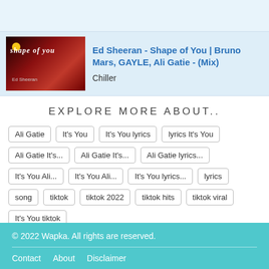[Figure (screenshot): Video thumbnail for Ed Sheeran Shape of You with dark red background and moon icon]
Ed Sheeran - Shape of You | Bruno Mars, GAYLE, Ali Gatie - (Mix)
Chiller
EXPLORE MORE ABOUT..
Ali Gatie
It's You
It's You lyrics
lyrics It's You
Ali Gatie It's...
Ali Gatie It's...
Ali Gatie lyrics...
It's You Ali...
It's You Ali...
It's You lyrics...
lyrics
song
tiktok
tiktok 2022
tiktok hits
tiktok viral
It's You tiktok
© 2022 Wapka. All rights are reserved. Contact About Disclaimer